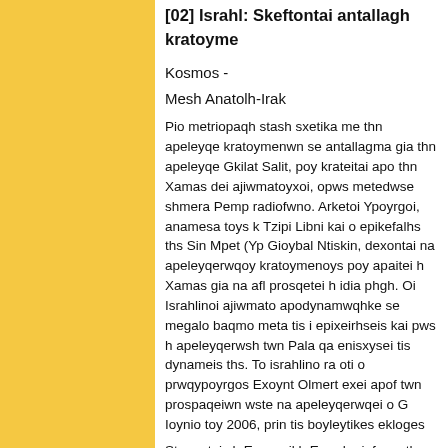[02] Israhl: Skeftontai antallagh kratoyme...
Kosmos -
Mesh Anatolh-Irak
Pio metriopaqh stash sxetika me thn apeleyqe... kratoymenwn se antallagma gia thn apeleyqe... Gkilat Salit, poy krateitai apo thn Xamas dei... ajiwmatoyxoi, opws metedwse shmera Pemp... radiofwno. Arketoi Ypoyrgoi, anamesa toys k... Tzipi Libni kai o epikefalhs ths Sin Mpet (Yp... Gioybal Ntiskin, dexontai na apeleyqerwqoy... kratoymenoys poy apaitei h Xamas gia na afl... prosqetei h idia phgh. Oi Israhlinoi ajiwmato... apodynamwqhke se megalo baqmo meta tis i... epixeirhseis kai pws h apeleyqerwsh twn Pal... qa enisxysei tis dynameis ths. To israhlino ra... oti o prwqypoyrgos Exoynt Olmert exei apof... twn prospaqeiwn wste na apeleyqerwqei o G... Ioynio toy 2006, prin tis boyleytikes ekloges...
Sto metajy h Eyrwpaikh Enwsh ejefrase thn e... stalei perissoterh anqrwpistikh bohqeia sth L... ejasfalise tis diabebaiwseis toy Israhl oti ga...